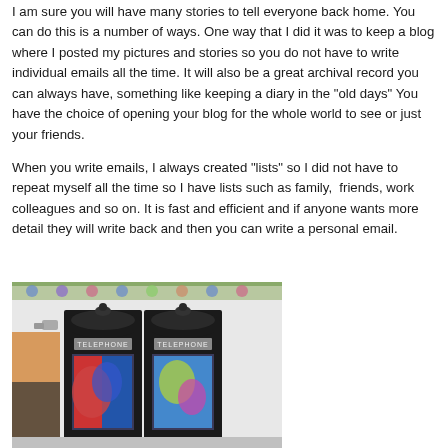I am sure you will have many stories to tell everyone back home. You can do this is a number of ways. One way that I did it was to keep a blog where I posted my pictures and stories so you do not have to write individual emails all the time. It will also be a great archival record you can always have, something like keeping a diary in the "old days" You have the choice of opening your blog for the whole world to see or just your friends.
When you write emails, I always created "lists" so I did not have to repeat myself all the time so I have lists such as family,  friends, work colleagues and so on. It is fast and efficient and if anyone wants more detail they will write back and then you can write a personal email.
[Figure (photo): Two black telephone booths labeled TELEPHONE side by side, photographed indoors in what appears to be a shopping center or public space. Decorative tiles visible along the top wall, colorful posters/displays visible inside the booths.]